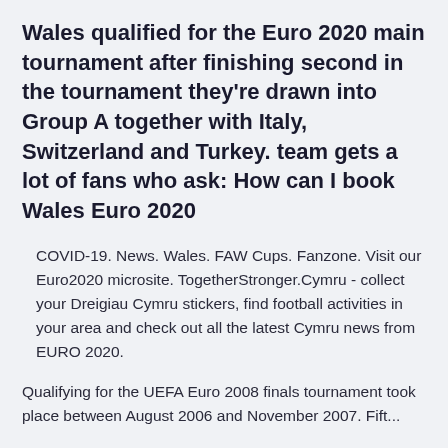Wales qualified for the Euro 2020 main tournament after finishing second in the tournament they're drawn into Group A together with Italy, Switzerland and Turkey. team gets a lot of fans who ask: How can I book Wales Euro 2020
COVID-19. News. Wales. FAW Cups. Fanzone. Visit our Euro2020 microsite. TogetherStronger.Cymru - collect your Dreigiau Cymru stickers, find football activities in your area and check out all the latest Cymru news from EURO 2020.
Qualifying for the UEFA Euro 2008 finals tournament took place between August 2006 and November 2007. Fift...